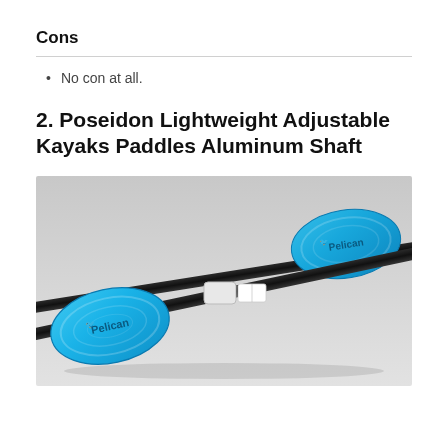Cons
No con at all.
2. Poseidon Lightweight Adjustable Kayaks Paddles Aluminum Shaft
[Figure (photo): Two Pelican brand kayak paddles with bright blue blades and black aluminum shafts, displayed on a light grey background. Both paddles show the Pelican logo on the blue blades. The paddles are arranged diagonally crossing each other.]